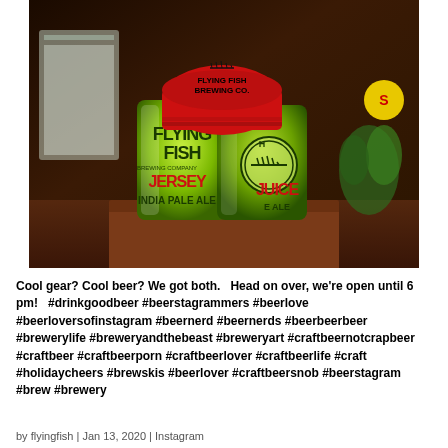[Figure (photo): Photo of two Flying Fish Brewing Company 'Jersey Juice India Pale Ale' beer cans in bright green packaging with a red Flying Fish Brewing Co. beanie hat on top, placed on a wooden bar counter inside a taproom.]
Cool gear? Cool beer? We got both.   Head on over, we're open until 6 pm!   #drinkgoodbeer #beerstagrammers #beerlove #beerloversofinstagram #beernerd #beernerds #beerbeerbeer #brewerylife #breweryandthebeast #breweryart #craftbeernotcrapbeer #craftbeer #craftbeerporn #craftbeerlover #craftbeerlife #craft #holidaycheers #brewskis #beerlover #craftbeersnob #beerstagram #brew #brewery
by flyingfish | Jan 13, 2020 | Instagram